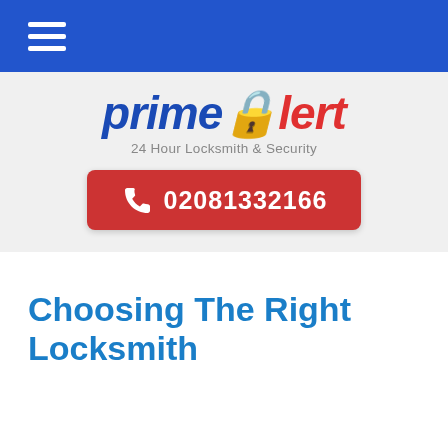≡ (navigation menu)
[Figure (logo): primealert logo — 'prime' in blue italic bold, 'alert' in red italic bold with a padlock icon replacing the 'a', tagline '24 Hour Locksmith & Security' in grey below]
☎ 02081332166
Choosing The Right Locksmith